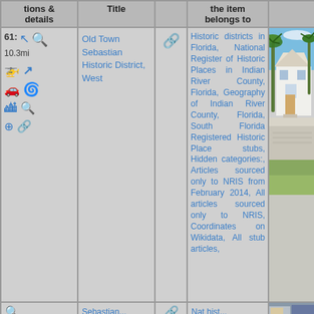| tions & details | Title |  | the item belongs to |  |
| --- | --- | --- | --- | --- |
| 61: 10.3mi [icons] | Old Town Sebastian Historic District, West | [link icon] | Historic districts in Florida, National Register of Historic Places in Indian River County, Florida, Geography of Indian River County, Florida, South Florida Registered Historic Place stubs, Hidden categories:, Articles sourced only to NRIS from February 2014, All articles sourced only to NRIS, Coordinates on Wikidata, All stub articles, | [photo of white house with palm trees] |